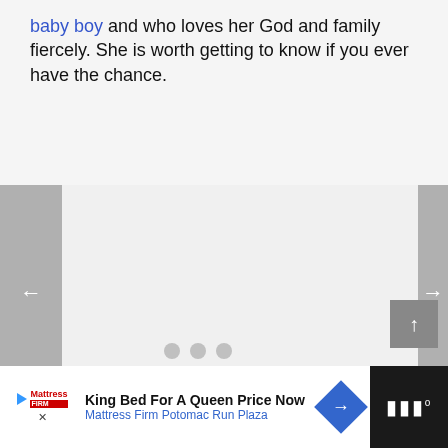baby boy and who loves her God and family fiercely. She is worth getting to know if you ever have the chance.
[Figure (screenshot): Slideshow carousel area with left and right navigation arrows and three dot indicators at the bottom]
[Figure (screenshot): Advertisement banner: King Bed For A Queen Price Now - Mattress Firm Potomac Run Plaza]
King Bed For A Queen Price Now
Mattress Firm Potomac Run Plaza